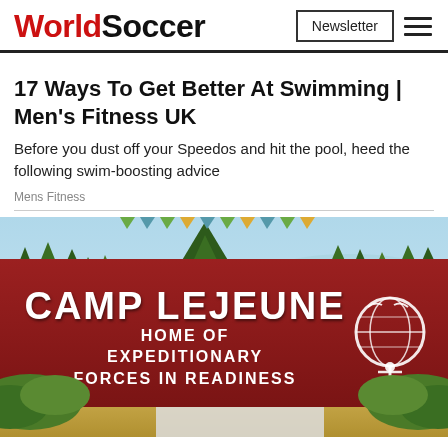WorldSoccer | Newsletter
17 Ways To Get Better At Swimming | Men's Fitness UK
Before you dust off your Speedos and hit the pool, heed the following swim-boosting advice
Mens Fitness
[Figure (illustration): Illustrated image of a Camp Lejeune entrance sign reading 'CAMP LEJEUNE HOME OF EXPEDITIONARY FORCES IN READINESS' with USMC eagle globe and anchor emblem, surrounded by illustrated trees and green bushes against a blue sky background]